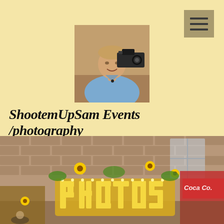[Figure (photo): Navigation hamburger menu icon button with three horizontal lines on a tan/khaki background square]
[Figure (photo): Man smiling holding a professional video camera on his shoulder, wearing a light blue shirt, indoor/outdoor setting]
ShootemUpSam Events /photography
[Figure (photo): Outdoor event scene with a decorative display featuring large marquee letters spelling PHOTOS with sunflowers, in front of a brick building. A red Coca-Cola branded vehicle is visible on the right.]